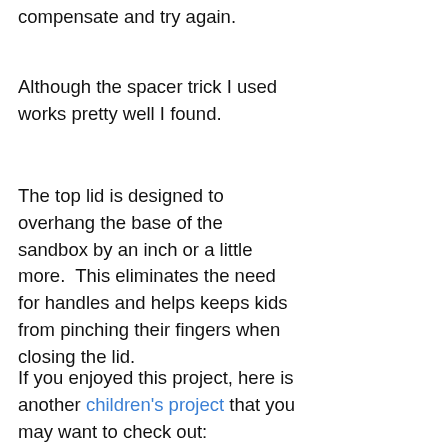compensate and try again.
Although the spacer trick I used works pretty well I found.
The top lid is designed to overhang the base of the sandbox by an inch or a little more.  This eliminates the need for handles and helps keeps kids from pinching their fingers when closing the lid.
If you enjoyed this project, here is another children's project that you may want to check out: